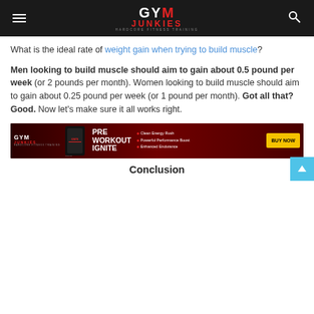GYM JUNKIES — HARDCORE FITNESS TRAINING
What is the ideal rate of weight gain when trying to build muscle?
Men looking to build muscle should aim to gain about 0.5 pound per week (or 2 pounds per month). Women looking to build muscle should aim to gain about 0.25 pound per week (or 1 pound per month). Got all that? Good. Now let's make sure it all works right.
[Figure (infographic): Gym Junkies Pre Workout Ignite advertisement banner with product image, bullet points (Clean Energy Rush, Powerful Performance Boost, Enhanced Endurance), and BUY NOW button]
Conclusion